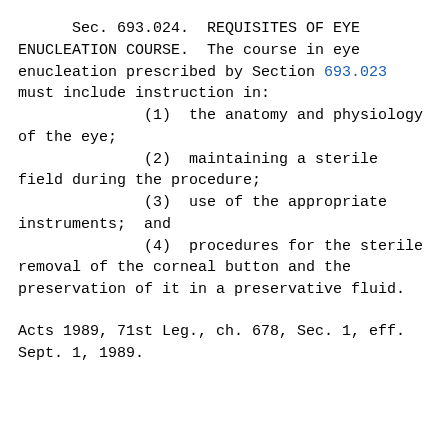Sec. 693.024. REQUISITES OF EYE ENUCLEATION COURSE. The course in eye enucleation prescribed by Section 693.023 must include instruction in:
(1) the anatomy and physiology of the eye;
(2) maintaining a sterile field during the procedure;
(3) use of the appropriate instruments; and
(4) procedures for the sterile removal of the corneal button and the preservation of it in a preservative fluid.
Acts 1989, 71st Leg., ch. 678, Sec. 1, eff. Sept. 1, 1989.